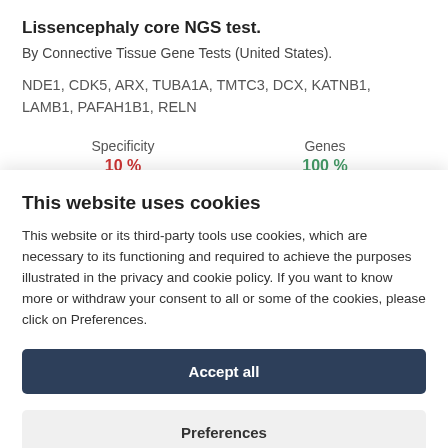Lissencephaly core NGS test.
By Connective Tissue Gene Tests (United States).
NDE1, CDK5, ARX, TUBA1A, TMTC3, DCX, KATNB1, LAMB1, PAFAH1B1, RELN
| Specificity | Genes |
| --- | --- |
| 10 % | 100 % |
This website uses cookies
This website or its third-party tools use cookies, which are necessary to its functioning and required to achieve the purposes illustrated in the privacy and cookie policy. If you want to know more or withdraw your consent to all or some of the cookies, please click on Preferences.
Accept all
Preferences